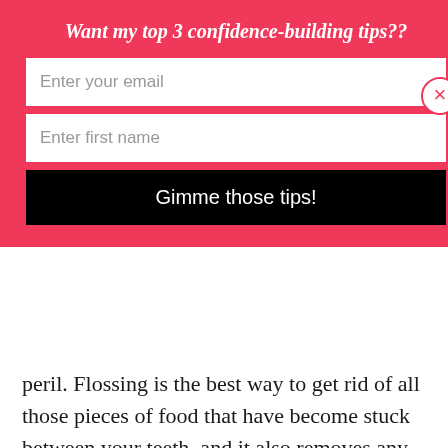Want my top 3 confidence-building tips??
Enter your email
Enter first name
Gimme those tips!
peril. Flossing is the best way to get rid of all those pieces of food that have become stuck between your teeth, and it also removes any plaque that has built up during the day. You know all this already, of course, as your dentist has probably lectured you on the subject. So, to avoid being told off again, pick up some dental flossers from your local pharmacy, or consider a water flosser if you're resistant to the stringed alternative.